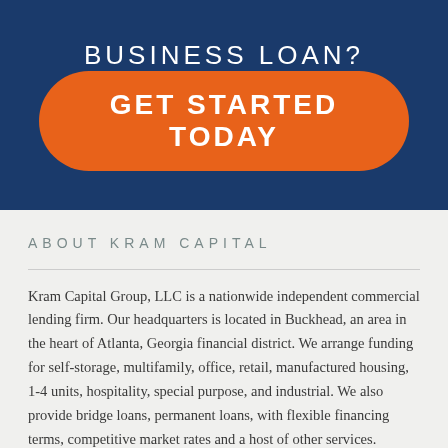BUSINESS LOAN?
GET STARTED TODAY
ABOUT KRAM CAPITAL
Kram Capital Group, LLC is a nationwide independent commercial lending firm. Our headquarters is located in Buckhead, an area in the heart of Atlanta, Georgia financial district. We arrange funding for self-storage, multifamily, office, retail, manufactured housing, 1-4 units, hospitality, special purpose, and industrial. We also provide bridge loans, permanent loans, with flexible financing terms, competitive market rates and a host of other services.